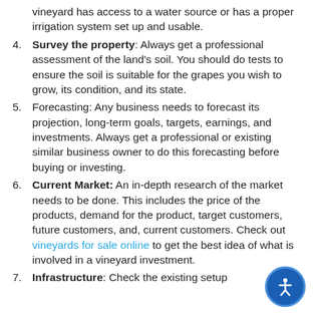(continued) vineyard has access to a water source or has a proper irrigation system set up and usable.
4. Survey the property: Always get a professional assessment of the land's soil. You should do tests to ensure the soil is suitable for the grapes you wish to grow, its condition, and its state.
5. Forecasting: Any business needs to forecast its projection, long-term goals, targets, earnings, and investments. Always get a professional or existing similar business owner to do this forecasting before buying or investing.
6. Current Market: An in-depth research of the market needs to be done. This includes the price of the products, demand for the product, target customers, future customers, and, current customers. Check out vineyards for sale online to get the best idea of what is involved in a vineyard investment.
7. Infrastructure: Check the existing setup